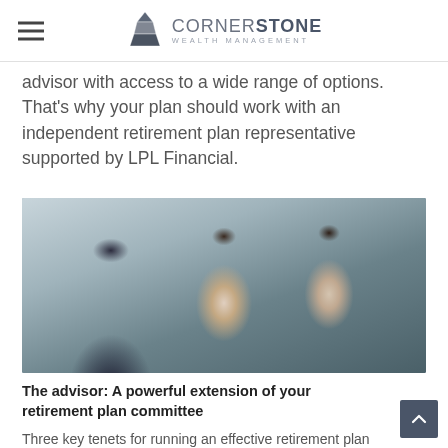CORNERSTONE WEALTH MANAGEMENT
advisor with access to a wide range of options. That’s why your plan should work with an independent retirement plan representative supported by LPL Financial.
[Figure (photo): Three business professionals in a meeting setting, with a woman in dark attire holding documents speaking to two others]
The advisor: A powerful extension of your retirement plan committee
Three key tenets for running an effective retirement plan